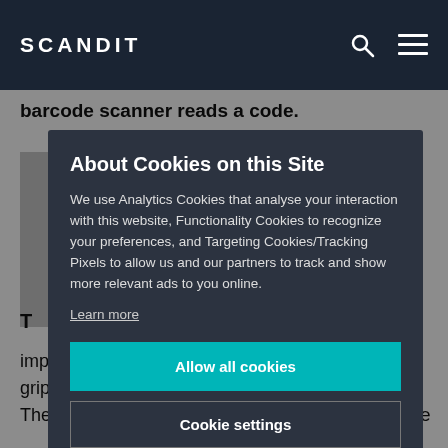SCANDIT
barcode scanner reads a code.
About Cookies on this Site
We use Analytics Cookies that analyse your interaction with this website, Functionality Cookies to recognize your preferences, and Targeting Cookies/Tracking Pixels to allow us and our partners to track and show more relevant ads to you online.
Learn more
Allow all cookies
Cookie settings
Deny all
improved materials that increase ruggedness and grip. The Scandit Case works with all of Scandit's mobile